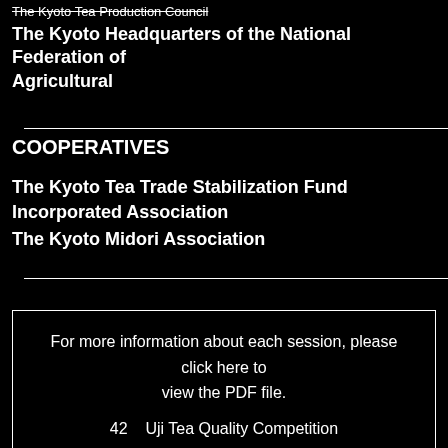The Kyoto Tea Production Council
The Kyoto Headquarters of the National Federation of Agricultural
COOPERATIVES
The Kyoto Tea Trade Stabilization Fund Incorporated Association
The Kyoto Midori Association
For more information about each session, please click here to view the PDF file.
42    Uji Tea Quality Competition